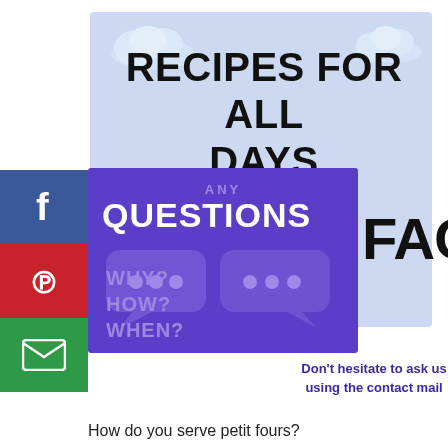[Figure (infographic): Light blue banner background with clouds and large bold text reading RECIPES FOR ALL DAYS. Below it, a purple FAQ block with speech bubbles, ANY QUESTIONS text, WHY? HOW? WHEN? in lighter purple, and a Don't hesitate contact message. Social media sidebar buttons for Facebook, Pinterest, and Email on the left.]
RECIPES FOR ALL DAYS
ANY QUESTIONS   FAQ
WHY?
HOW?
WHEN?
Don't hesitate to ask us using the contact mail
How do you serve petit fours?